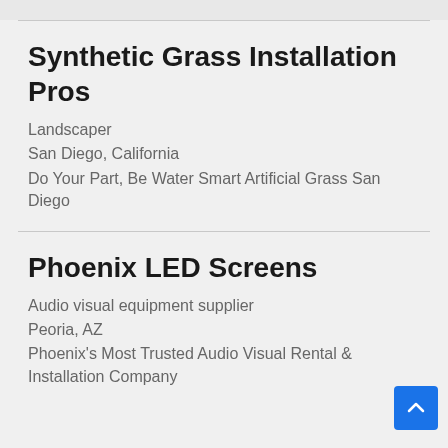Synthetic Grass Installation Pros
Landscaper
San Diego, California
Do Your Part, Be Water Smart Artificial Grass San Diego
Phoenix LED Screens
Audio visual equipment supplier
Peoria, AZ
Phoenix's Most Trusted Audio Visual Rental & Installation Company